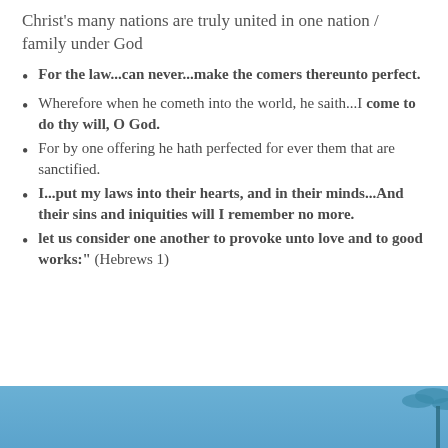Christ's many nations are truly united in one nation / family under God
For the law...can never...make the comers thereunto perfect.
Wherefore when he cometh into the world, he saith...I come to do thy will, O God.
For by one offering he hath perfected for ever them that are sanctified.
I...put my laws into their hearts, and in their minds...And their sins and iniquities will I remember no more.
let us consider one another to provoke unto love and to good works: (Hebrews 1)
[Figure (photo): Blue sky background with palm tree silhouette visible at bottom of page]